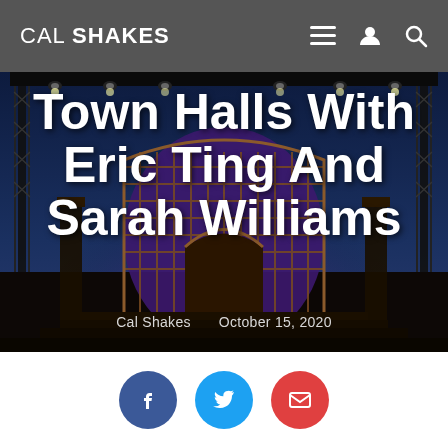CAL SHAKES
[Figure (photo): Night-time photo of an outdoor theater stage with metal truss rigging, stage lighting, and an ornate arched set piece illuminated in purple/blue. Text overlay reads 'Town Halls With Eric Ting And Sarah Williams'. Below the title: 'Cal Shakes   October 15, 2020'.]
Town Halls With Eric Ting And Sarah Williams
Cal Shakes   October 15, 2020
[Figure (infographic): Three social share buttons: Facebook (dark blue circle with f icon), Twitter (light blue circle with bird icon), Email (red circle with envelope icon)]